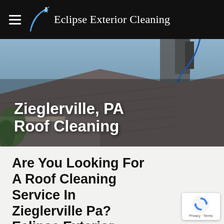Eclipse Exterior Cleaning
[Figure (photo): Roof cleaning service photo showing a house roof being cleaned with a pressure washer spraying water, with text overlay 'Zieglerville, PA Roof Cleaning']
Zieglerville, PA Roof Cleaning
Are You Looking For A Roof Cleaning Service In Zieglerville Pa? Eclipse Exterior